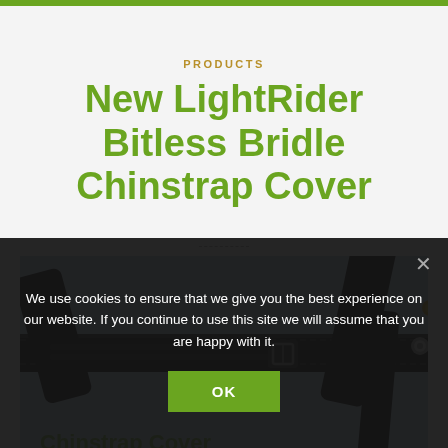PRODUCTS
New LightRider Bitless Bridle Chinstrap Cover
[Figure (photo): Close-up photo of a black leather bitless bridle with chinstrap cover, showing buckles and stitching detail against a light blue-grey background]
We use cookies to ensure that we give you the best experience on our website. If you continue to use this site we will assume that you are happy with it.